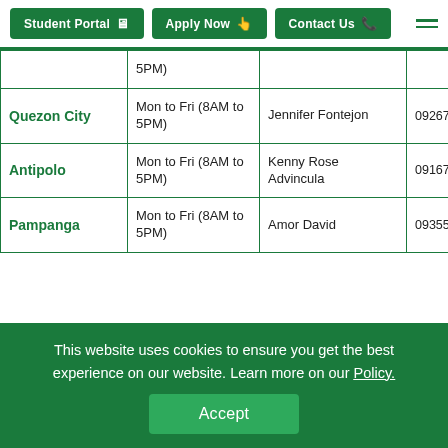Student Portal | Apply Now | Contact Us
| Location | Schedule | Contact Person | Phone |
| --- | --- | --- | --- |
|  | 5PM) |  |  |
| Quezon City | Mon to Fri (8AM to 5PM) | Jennifer Fontejon | 09267566717 |
| Antipolo | Mon to Fri (8AM to 5PM) | Kenny Rose Advincula | 09167520391 |
| Pampanga | Mon to Fri (8AM to 5PM) | Amor David | 09355018646 |
This website uses cookies to ensure you get the best experience on our website. Learn more on our Policy.